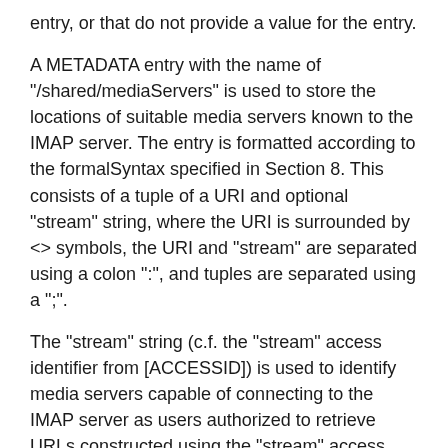entry, or that do not provide a value for the entry.
A METADATA entry with the name of "/shared/mediaServers" is used to store the locations of suitable media servers known to the IMAP server. The entry is formatted according to the formalSyntax specified in Section 8. This consists of a tuple of a URI and optional "stream" string, where the URI is surrounded by <> symbols, the URI and "stream" are separated using a colon ":", and tuples are separated using a ";".
The "stream" string (c.f. the "stream" access identifier from [ACCESSID]) is used to identify media servers capable of connecting to the IMAP server as users authorized to retrieve URLs constructed using the "stream" access identifier. It indicates that the client MUST create the content URI using the "stream" access identifier. See Section 3.3 for a description of how the client should make use of the access identifier when generating IMAP URLs.)
Example values of the /shared/mediaServers METADATA